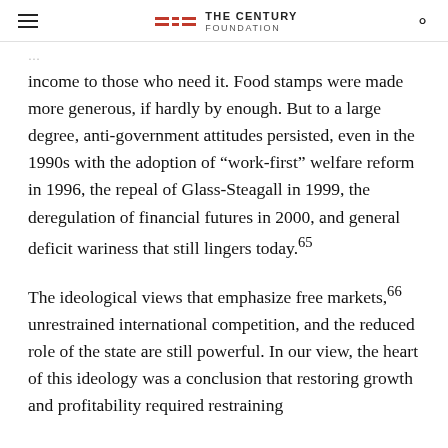THE CENTURY FOUNDATION
income to those who need it. Food stamps were made more generous, if hardly by enough. But to a large degree, anti-government attitudes persisted, even in the 1990s with the adoption of “work-first” welfare reform in 1996, the repeal of Glass-Steagall in 1999, the deregulation of financial futures in 2000, and general deficit wariness that still lingers today.²65
The ideological views that emphasize free markets,²66 unrestrained international competition, and the reduced role of the state are still powerful. In our view, the heart of this ideology was a conclusion that restoring growth and profitability required restraining